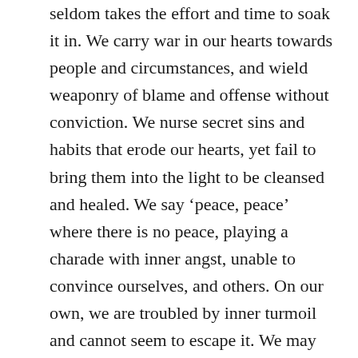seldom takes the effort and time to soak it in. We carry war in our hearts towards people and circumstances, and wield weaponry of blame and offense without conviction. We nurse secret sins and habits that erode our hearts, yet fail to bring them into the light to be cleansed and healed. We say ‘peace, peace’ where there is no peace, playing a charade with inner angst, unable to convince ourselves, and others. On our own, we are troubled by inner turmoil and cannot seem to escape it. We may even try manmade substances to procure it. What is true in our salvation never makes its home in our hearts, and we are the worse and miserable for not reckoning it our own. (Jeremiah 6:14)